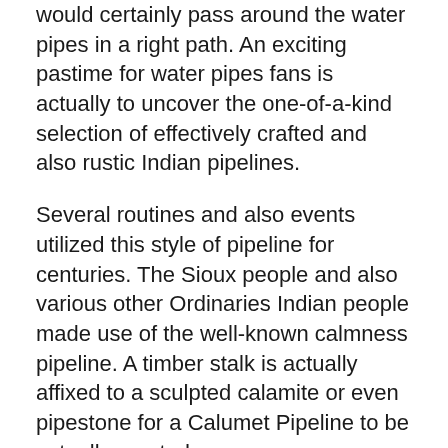would certainly pass around the water pipes in a right path. An exciting pastime for water pipes fans is actually to uncover the one-of-a-kind selection of effectively crafted and also rustic Indian pipelines.
Several routines and also events utilized this style of pipeline for centuries. The Sioux people and also various other Ordinaries Indian people made use of the well-known calmness pipeline. A timber stalk is actually affixed to a sculpted calamite or even pipestone for a Calumet Pipeline to be actually created.
Smoking cigarette has actually consistently belonged of the socializing of Indigenous Americans. Throughout opportunity, Indian